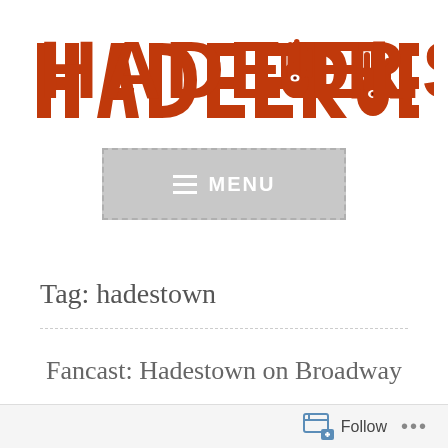[Figure (logo): Hadeer Elsbai logo in orange bold text with a hand/eye symbol between the words]
[Figure (screenshot): Gray menu button with dashed border, hamburger icon lines, and MENU text in white]
Tag: hadestown
Fancast: Hadestown on Broadway
Follow ...